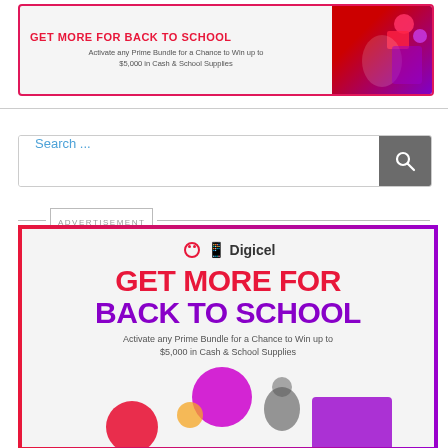[Figure (infographic): Digicel 'Get More for Back to School' banner ad (top). Red border, white/grey background, headline in red bold uppercase, subtext in grey, decorative image on right with students and colored circles.]
[Figure (screenshot): Search bar with 'Search ...' placeholder text in blue, grey search button with magnifying glass icon on right.]
ADVERTISEMENT
[Figure (infographic): Digicel 'Get More for Back to School' main ad. Purple/red gradient border. Digicel logo at top. Large headline 'GET MORE FOR BACK TO SCHOOL' in red and purple. Subtitle: 'Activate any Prime Bundle for a Chance to Win up to $5,000 in Cash & School Supplies'. Decorative circles (red, purple) and person at bottom.]